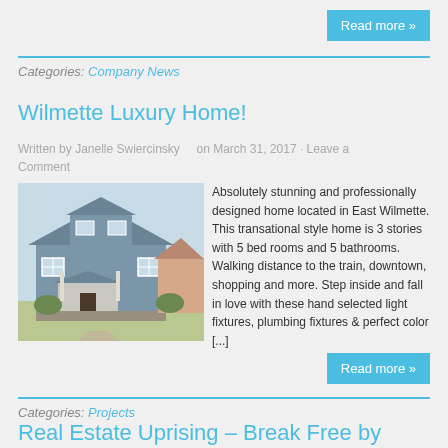Read more »
Categories: Company News
Wilmette Luxury Home!
Written by Janelle Swiercinsky on March 31, 2017 · Leave a Comment
[Figure (photo): Exterior photo of a blue/grey craftsman-style house with white trim, front porch, and landscaping in East Wilmette]
Absolutely stunning and professionally designed home located in East Wilmette. This transational style home is 3 stories with 5 bed rooms and 5 bathrooms. Walking distance to the train, downtown, shopping and more. Step inside and fall in love with these hand selected light fixtures, plumbing fixtures & perfect color [...]
Read more »
Categories: Projects
Real Estate Uprising – Break Free by